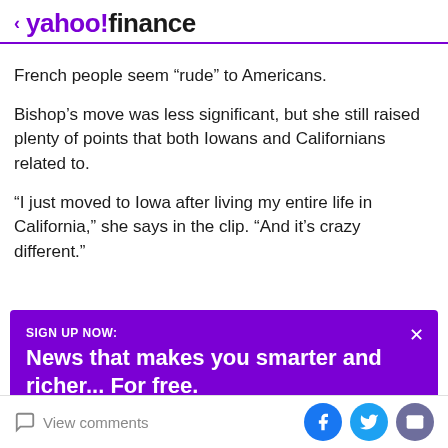< yahoo!finance
French people seem “rude” to Americans.
Bishop’s move was less significant, but she still raised plenty of points that both Iowans and Californians related to.
“I just moved to Iowa after living my entire life in California,” she says in the clip. “And it’s crazy different.”
[Figure (other): Yahoo Finance sign-up promotional banner with text 'SIGN UP NOW: News that makes you smarter and richer... For free.' on purple background]
View comments